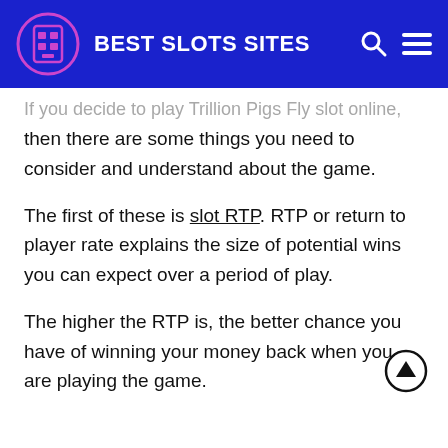BEST SLOTS SITES
If you decide to play Trillion Pigs Fly slot online, then there are some things you need to consider and understand about the game.
The first of these is slot RTP. RTP or return to player rate explains the size of potential wins you can expect over a period of play.
The higher the RTP is, the better chance you have of winning your money back when you are playing the game.